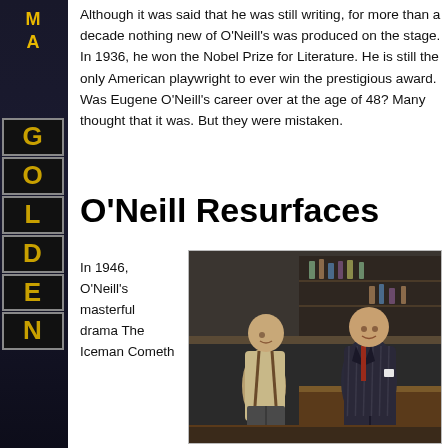Although it was said that he was still writing, for more than a decade nothing new of O'Neill's was produced on the stage. In 1936, he won the Nobel Prize for Literature. He is still the only American playwright to ever win the prestigious award. Was Eugene O'Neill's career over at the age of 48? Many thought that it was. But they were mistaken.
O'Neill Resurfaces
In 1946, O'Neill's masterful drama The Iceman Cometh
[Figure (photo): A theatrical stage photograph showing two male actors in a bar/saloon setting. One actor is bald and wearing casual suspenders, the other is a heavyset man in a pinstriped suit. They appear to be in a confrontational or dramatic scene.]